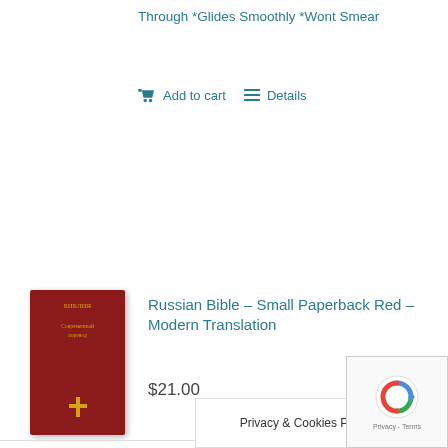Through *Glides Smoothly *Wont Smear
Add to cart   Details
[Figure (photo): Red paperback Russian Bible book cover with gold Cyrillic text]
Russian Bible – Small Paperback Red – Modern Translation
$21.00
Add to cart   Details
Privacy & Cookies Policy